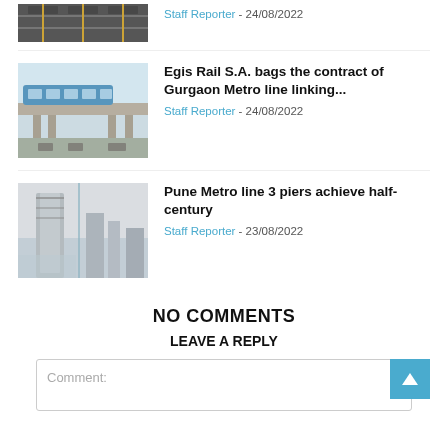Staff Reporter - 24/08/2022
[Figure (photo): Aerial view of railway tracks with yellow cables]
Egis Rail S.A. bags the contract of Gurgaon Metro line linking...
Staff Reporter - 24/08/2022
[Figure (photo): Blue metro train on elevated track in Gurgaon]
Pune Metro line 3 piers achieve half-century
Staff Reporter - 23/08/2022
[Figure (photo): Pune Metro line 3 pier construction]
NO COMMENTS
LEAVE A REPLY
Comment: